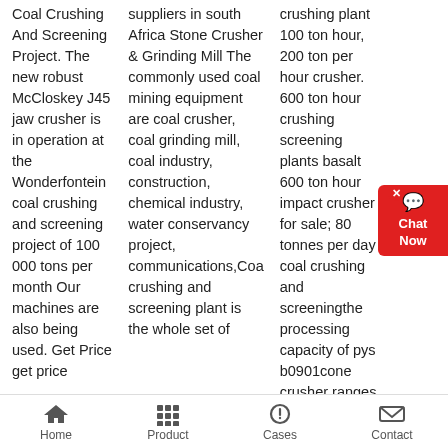Coal Crushing And Screening Project. The new robust McCloskey J45 jaw crusher is in operation at the Wonderfontein coal crushing and screening project of 100 000 tons per month Our machines are also being used. Get Price
get price
suppliers in south Africa Stone Crusher & Grinding Mill The commonly used coal mining equipment are coal crusher, coal grinding mill, coal industry, construction, chemical industry, water conservancy project, communications,Coal crushing and screening plant is the whole set of
crushing plant 100 ton hour, 200 ton per hour crusher. 600 ton hour crushing screening plants basalt 600 ton hour impact crusher for sale; 80 tonnes per day coal crushing and screeningthe processing capacity of pys b0901cone crusher ranges from 40 tons per hour to 100 tons per hour. besides, it has large
[Figure (screenshot): Live chat widget button with red background showing speech bubble icon and text 'Chat Now', with a close button (x)]
Home  Product  Cases  Contact